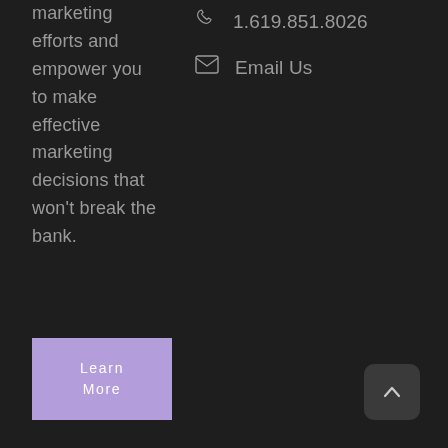marketing efforts and empower you to make effective marketing decisions that won't break the bank.
1.619.851.8026
Email Us
Learn More
[Figure (other): Scroll to top button with upward chevron arrow on dark rounded square background]